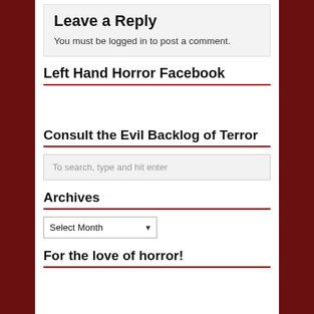Leave a Reply
You must be logged in to post a comment.
Left Hand Horror Facebook
Consult the Evil Backlog of Terror
To search, type and hit enter
Archives
Select Month
For the love of horror!